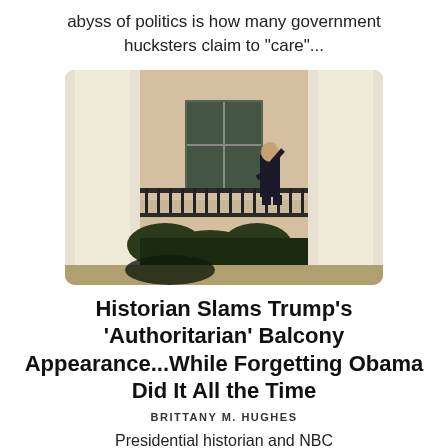abyss of politics is how many government hucksters claim to “care”...
[Figure (photo): A figure standing on a White House balcony with black iron railing, large white columns visible, nighttime or dusk lighting.]
Historian Slams Trump's 'Authoritarian' Balcony Appearance...While Forgetting Obama Did It All the Time
BRITTANY M. HUGHES
Presidential historian and NBC commentator Michael Beschloss might want to